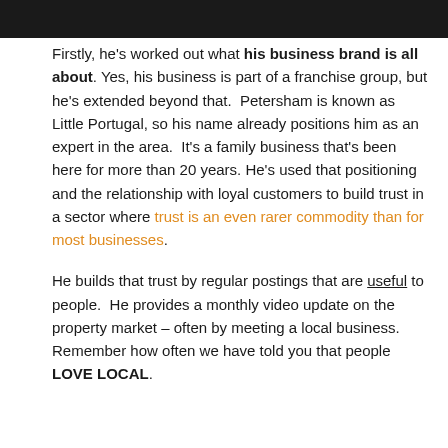Firstly, he's worked out what his business brand is all about. Yes, his business is part of a franchise group, but he's extended beyond that.  Petersham is known as Little Portugal, so his name already positions him as an expert in the area.  It's a family business that's been here for more than 20 years. He's used that positioning and the relationship with loyal customers to build trust in a sector where trust is an even rarer commodity than for most businesses.
He builds that trust by regular postings that are useful to people.  He provides a monthly video update on the property market – often by meeting a local business. Remember how often we have told you that people LOVE LOCAL.